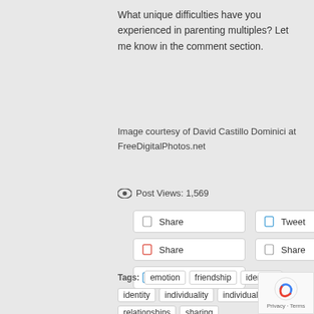What unique difficulties have you experienced in parenting multiples? Let me know in the comment section.
Image courtesy of David Castillo Dominici at FreeDigitalPhotos.net
Post Views: 1,569
[Figure (screenshot): Social sharing buttons: Share (Facebook), Tweet (Twitter), Share (Pinterest), Share (LinkedIn), Share (other)]
Tags: emotion friendship identical identity individuality individuals relationships sharing